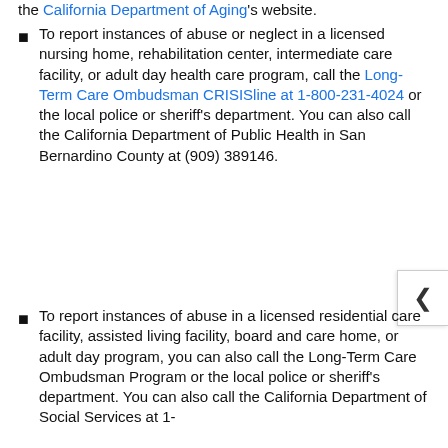the California Department of Aging's website.
To report instances of abuse or neglect in a licensed nursing home, rehabilitation center, intermediate care facility, or adult day health care program, call the Long-Term Care Ombudsman CRISISline at 1-800-231-4024 or the local police or sheriff's department. You can also call the California Department of Public Health in San Bernardino County at (909) 38[…] 9146.
To report instances of abuse in a licensed residential care facility, assisted living facility, board and care home, or adult day program, you can also call the Long-Term Care Ombudsman Program or the local police or sheriff's department. You can also call the California Department of Social Services at 1-